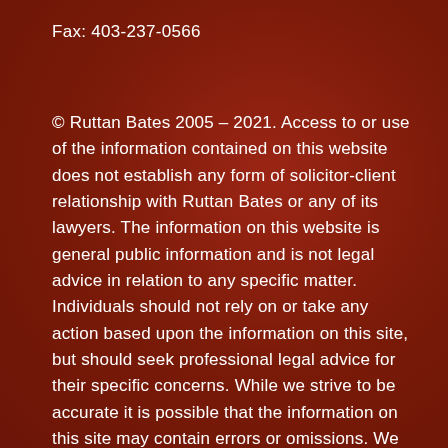Fax: 403-237-0566
© Ruttan Bates 2005 – 2021. Access to or use of the information contained on this website does not establish any form of solicitor-client relationship with Ruttan Bates or any of its lawyers. The information on this website is general public information and is not legal advice in relation to any specific matter. Individuals should not rely on or take any action based upon the information on this site, but should seek professional legal advice for their specific concerns. While we strive to be accurate it is possible that the information on this site may contain errors or omissions. We expressly disclaim any liability for such errors or omissions.